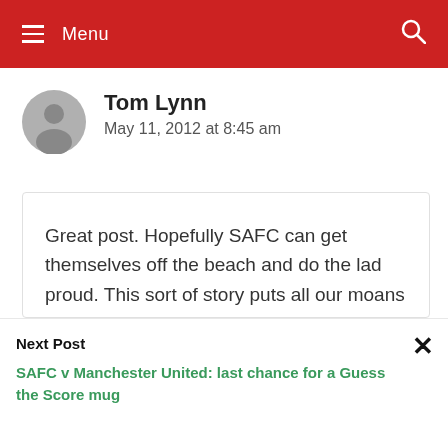Menu
Tom Lynn
May 11, 2012 at 8:45 am
Great post. Hopefully SAFC can get themselves off the beach and do the lad proud. This sort of story puts all our moans and gripes into perspective and highlights why we, generations of us, love our club like no others. Thanks for your
Next Post
SAFC v Manchester United: last chance for a Guess the Score mug